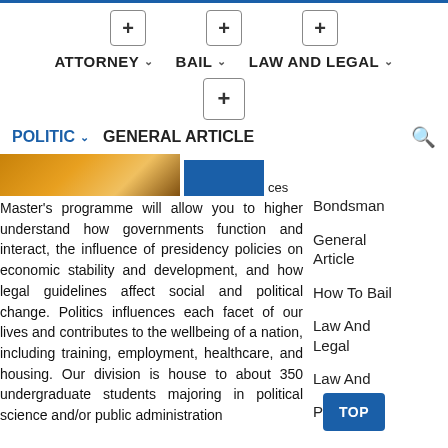Navigation bar with ATTORNEY, BAIL, LAW AND LEGAL, POLITIC, GENERAL ARTICLE menu items and plus/add buttons
ces
Master's programme will allow you to higher understand how governments function and interact, the influence of presidency policies on economic stability and development, and how legal guidelines affect social and political change. Politics influences each facet of our lives and contributes to the wellbeing of a nation, including training, employment, healthcare, and housing. Our division is house to about 350 undergraduate students majoring in political science and/or public administration
Bondsman
General Article
How To Bail
Law And Legal
Law And P...
Law Argument